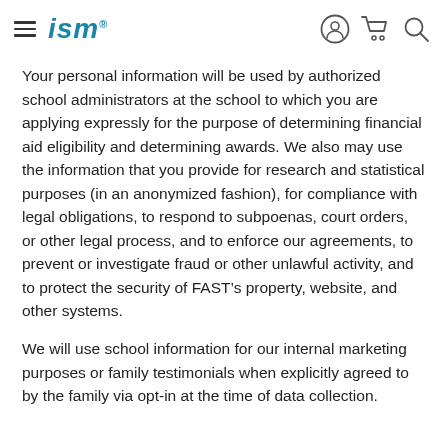ism
Your personal information will be used by authorized school administrators at the school to which you are applying expressly for the purpose of determining financial aid eligibility and determining awards. We also may use the information that you provide for research and statistical purposes (in an anonymized fashion), for compliance with legal obligations, to respond to subpoenas, court orders, or other legal process, and to enforce our agreements, to prevent or investigate fraud or other unlawful activity, and to protect the security of FAST’s property, website, and other systems.
We will use school information for our internal marketing purposes or family testimonials when explicitly agreed to by the family via opt-in at the time of data collection.